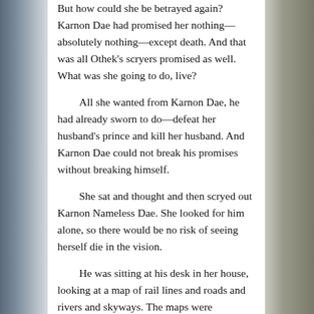But how could she be betrayed again? Karnon Dae had promised her nothing—absolutely nothing—except death. And that was all Othek's scryers promised as well. What was she going to do, live?

All she wanted from Karnon Dae, he had already sworn to do—defeat her husband's prince and kill her husband. And Karnon Dae could not break his promises without breaking himself.

She sat and thought and then scryed out Karnon Nameless Dae. She looked for him alone, so there would be no risk of seeing herself die in the vision.

He was sitting at his desk in her house, looking at a map of rail lines and roads and rivers and skyways. The maps were translucent, set to the same scale and layered one atop the other. Their edges were lit, and together they illuminated all the means at his disposal to move armies.